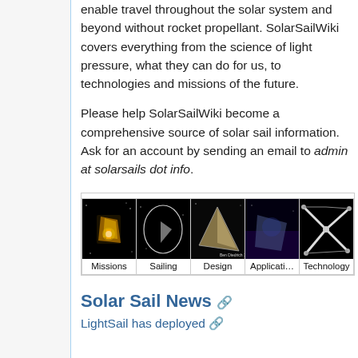enable travel throughout the solar system and beyond without rocket propellant. SolarSailWiki covers everything from the science of light pressure, what they can do for us, to technologies and missions of the future.
Please help SolarSailWiki become a comprehensive source of solar sail information. Ask for an account by sending an email to admin at solarsails dot info.
[Figure (photo): Five-panel image gallery showing solar sail categories: Missions (glowing sail in space), Sailing (sail with circular orbit path), Design (triangular sail concept art), Applications, Technology (structural diagram of sail booms). Each panel has a label below.]
Solar Sail News ↗
LightSail has deployed ↗